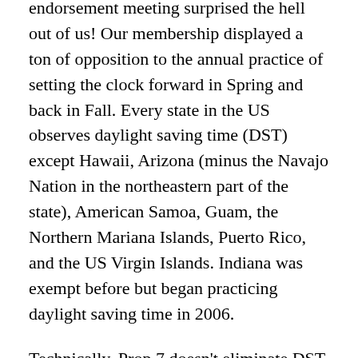endorsement meeting surprised the hell out of us! Our membership displayed a ton of opposition to the annual practice of setting the clock forward in Spring and back in Fall. Every state in the US observes daylight saving time (DST) except Hawaii, Arizona (minus the Navajo Nation in the northeastern part of the state), American Samoa, Guam, the Northern Mariana Islands, Puerto Rico, and the US Virgin Islands. Indiana was exempt before but began practicing daylight saving time in 2006.
Technically, Prop 7 doesn't eliminate DST. It actually freezes it in place securing the best dawn and dusk times year round. Daylight saving time lasts for a total of 34 weeks (238 days) every year, about 65% of the entire year. The history of DST has been traced back to a 1784 essay by Benjamin Franklin, "An Economical Project for Diminishing the Cost of Light", claiming Parisians could save on candles by getting out of bed